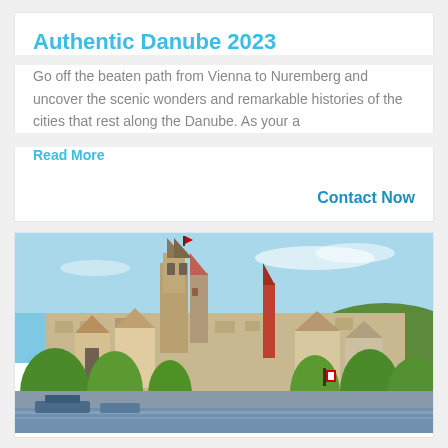Authentic Danube 2023
Go off the beaten path from Vienna to Nuremberg and uncover the scenic wonders and remarkable histories of the cities that rest along the Danube. As your a
Read More
Contact Now
[Figure (photo): Waterfront cityscape of Zurich (or similar European city) showing historic church spires, old buildings, trees, and a river or lake in the foreground on a sunny day.]